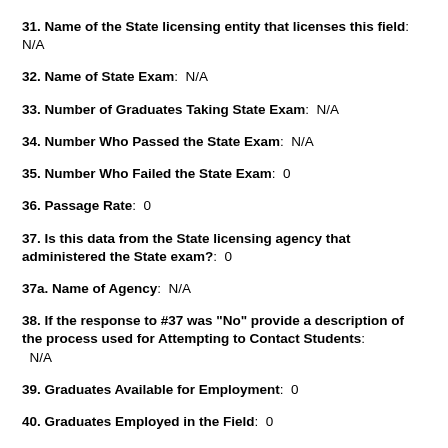31. Name of the State licensing entity that licenses this field: N/A
32. Name of State Exam: N/A
33. Number of Graduates Taking State Exam: N/A
34. Number Who Passed the State Exam: N/A
35. Number Who Failed the State Exam: 0
36. Passage Rate: 0
37. Is this data from the State licensing agency that administered the State exam?: 0
37a. Name of Agency: N/A
38. If the response to #37 was "No" provide a description of the process used for Attempting to Contact Students: N/A
39. Graduates Available for Employment: 0
40. Graduates Employed in the Field: 0